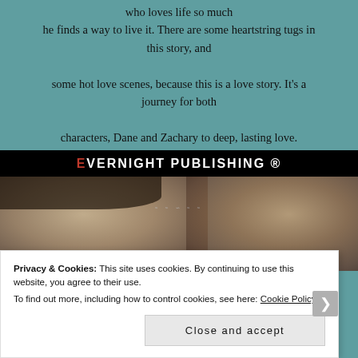who loves life so much he finds a way to live it. There are some heartstring tugs in this story, and some hot love scenes, because this is a love story. It's a journey for both characters, Dane and Zachary to deep, lasting love.
[Figure (logo): Evernight Publishing logo: black banner with 'EVERNIGHT PUBLISHING ®' in white uppercase letters, with 'E' in red]
[Figure (photo): Book cover showing two male faces in close-up, moody atmospheric lighting with birds in the background sky]
Privacy & Cookies: This site uses cookies. By continuing to use this website, you agree to their use.
To find out more, including how to control cookies, see here: Cookie Policy
Close and accept